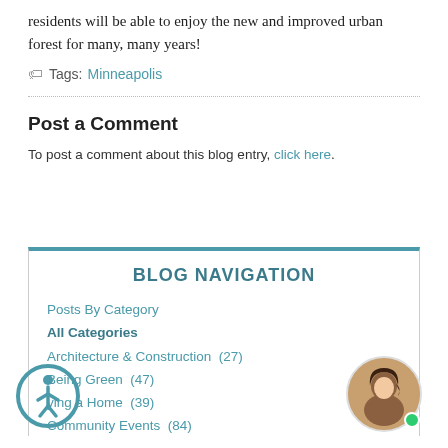residents will be able to enjoy the new and improved urban forest for many, many years!
Tags: Minneapolis
Post a Comment
To post a comment about this blog entry, click here.
BLOG NAVIGATION
Posts By Category
All Categories
Architecture & Construction  (27)
Being Green  (47)
ying a Home  (39)
Community Events  (84)